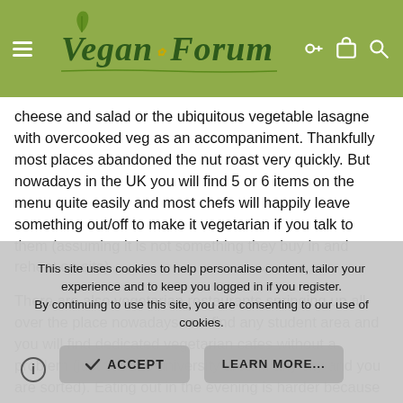Vegan Forum
cheese and salad or the ubiquitous vegetable lasagne with overcooked veg as an accompaniment. Thankfully most places abandoned the nut roast very quickly. But nowadays in the UK you will find 5 or 6 items on the menu quite easily and most chefs will happily leave something out/off to make it vegetarian if you talk to them (assuming it is not something they buy in and reheat on site).
There are also vegetarian restaurants springing up all over the place nowadays and find any student area and you will find dedicated vegetarian cafes without a problem (just find the university area in any city and you are sorted). Eating out in the evening is harder because the cafes tend to close around 4-5pm and don't do evening meals so you are back to hunting for restaurants again. However, all of the main stream restaurants (Pizza Hut, PizzaExpress, Harvester,
This site uses cookies to help personalise content, tailor your experience and to keep you logged in if you register.
By continuing to use this site, you are consenting to our use of cookies.